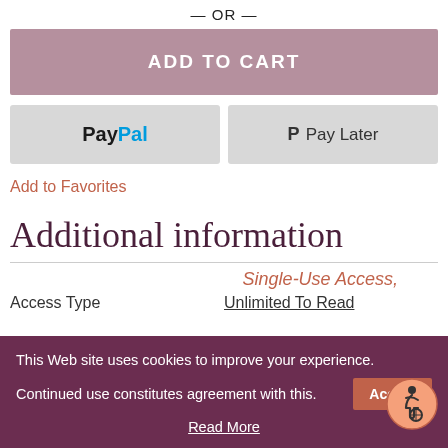— OR —
ADD TO CART
[Figure (other): PayPal payment button]
[Figure (other): Pay Later payment button]
Add to Favorites
Additional information
Single-Use Access,
This Web site uses cookies to improve your experience. Continued use constitutes agreement with this.
Read More